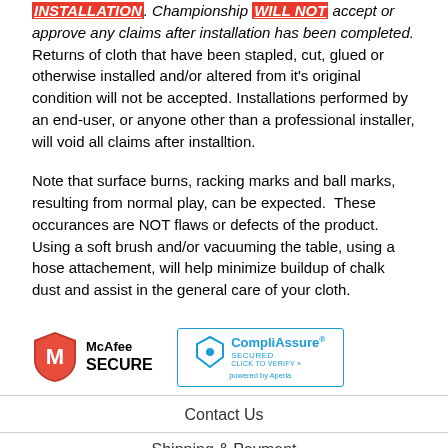INSTALLATION. Championship WILL NOT accept or approve any claims after installation has been completed. Returns of cloth that have been stapled, cut, glued or otherwise installed and/or altered from it's original condition will not be accepted. Installations performed by an end-user, or anyone other than a professional installer, will void all claims after installtion.
Note that surface burns, racking marks and ball marks, resulting from normal play, can be expected.  These occurances are NOT flaws or defects of the product.  Using a soft brush and/or vacuuming the table, using a hose attachement, will help minimize buildup of chalk dust and assist in the general care of your cloth.
[Figure (logo): McAfee SECURE badge and CompliAssure Secured badge]
Contact Us
Shipping & Payment